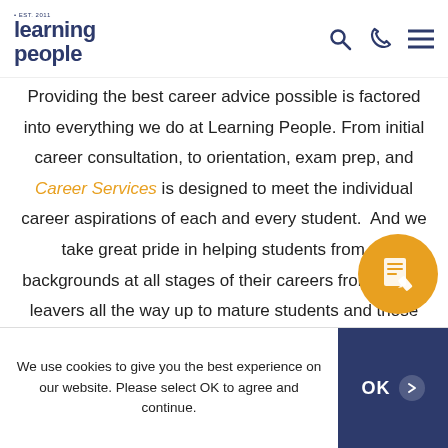learning people — navigation header with search, phone, and menu icons
Providing the best career advice possible is factored into everything we do at Learning People. From initial career consultation, to orientation, exam prep, and Career Services is designed to meet the individual career aspirations of each and every student. And we take great pride in helping students from all backgrounds at all stages of their careers from school leavers all the way up to mature students and those wishing to pursue a hobby / interest in th...
[Figure (illustration): Orange circular floating button with a document/notepad and pencil icon]
We use cookies to give you the best experience on our website. Please select OK to agree and continue.